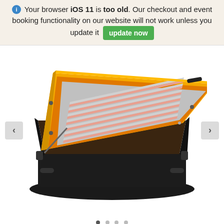Your browser iOS 11 is too old. Our checkout and event booking functionality on our website will not work unless you update it [update now]
[Figure (photo): An open UV exposure unit / screen printing light box with a yellow and orange lid propped open, revealing pink/red UV tubes and reflective backing. The base is black with a dark brown printing surface. Navigation arrows are visible on both sides.]